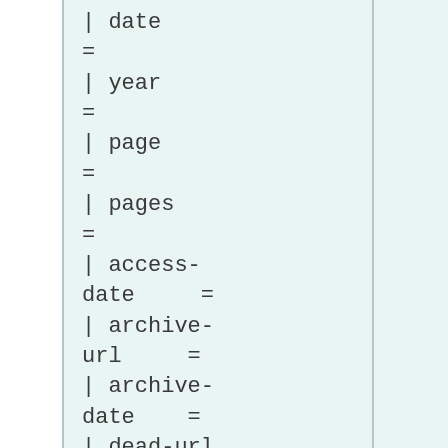| date
=
| year
=
| page
=
| pages
=
| access-date     =
| archive-url     =
| archive-date    =
| dead-url
=
| quote